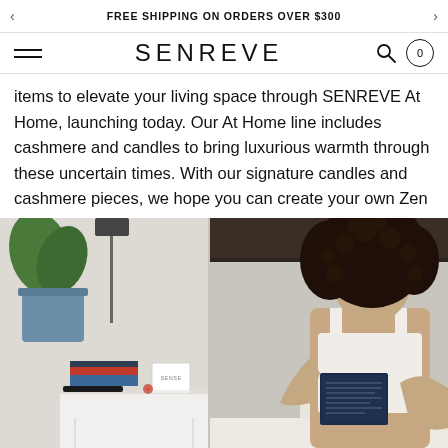FREE SHIPPING ON ORDERS OVER $300
[Figure (logo): SENREVE brand logo with hamburger menu, search icon, and cart icon showing 0]
items to elevate your living space through SENREVE At Home, launching today. Our At Home line includes cashmere and candles to bring luxurious warmth through these uncertain times. With our signature candles and cashmere pieces, we hope you can create your own Zen at home.
[Figure (photo): Lifestyle photo showing a nightstand with a SENREVE candle, books, and a plant on the left; a woman with curly hair reading a book in bed on the right]